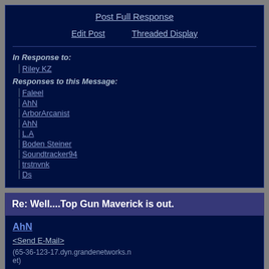Post Full Response
Edit Post | Threaded Display
In Response to:
Riley KZ
Responses to this Message:
Faleel
AhN
ArborArcanist
AhN
L.A
Boden Steiner
Soundtracker94
trstnvnk
Ds
Re: Well....Top Gun Maverick is out.
AhN
<Send E-Mail>
(65-36-123-17.dyn.grandenetworks.net)